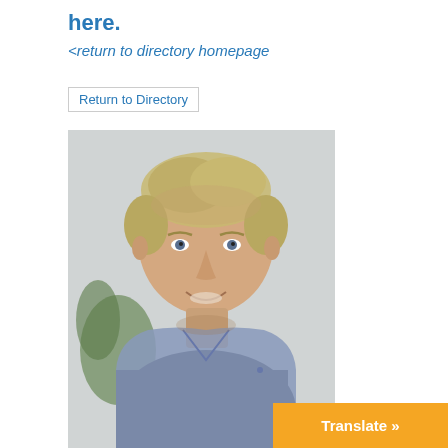here.
<return to directory homepage
Return to Directory
[Figure (photo): Headshot of a middle-aged man with short grey-blonde hair, smiling, wearing a blue collared shirt over a dark t-shirt, with a blurred plant in the background.]
AEDP Level   Certified AEDP Therapist
Phone   6462283482
Address   56 West 39th St, #5
City   New York